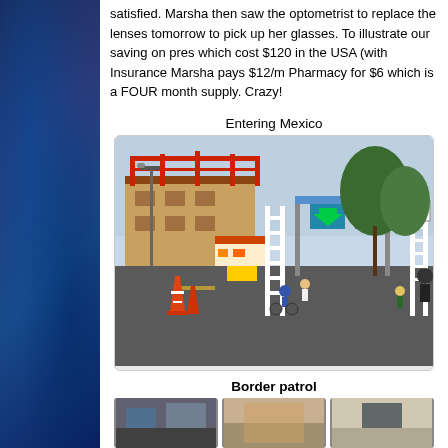satisfied. Marsha then saw the optometrist to replace the lenses tomorrow to pick up her glasses. To illustrate our saving on pres which cost $120 in the USA (with Insurance Marsha pays $12/m Pharmacy for $6 which is a FOUR month supply. Crazy!
Entering Mexico
[Figure (photo): Street scene at a Mexico border crossing. White iron gates, a pedestrian crossing area with green arrow signs, people walking and cycling toward the entrance. Buildings under construction with red metal frame on left, trees visible on right, orange traffic cones in foreground.]
Border patrol
[Figure (photo): Bottom strip showing partial images related to border patrol - three small photo thumbnails partially visible at bottom of page.]